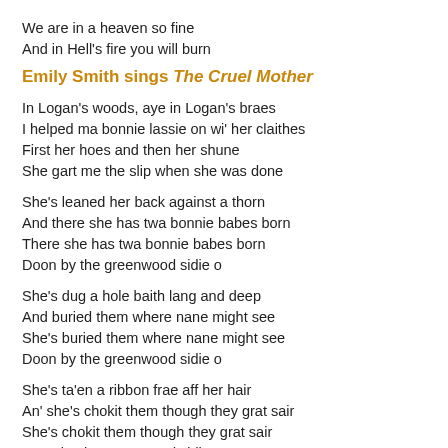We are in a heaven so fine
And in Hell's fire you will burn
Emily Smith sings The Cruel Mother
In Logan's woods, aye in Logan's braes
I helped ma bonnie lassie on wi' her claithes
First her hoes and then her shune
She gart me the slip when she was done
She's leaned her back against a thorn
And there she has twa bonnie babes born
There she has twa bonnie babes born
Doon by the greenwood sidie o
She's dug a hole baith lang and deep
And buried them where nane might see
She's buried them where nane might see
Doon by the greenwood sidie o
She's ta'en a ribbon frae aff her hair
An' she's chokit them though they grat sair
She's chokit them though they grat sair
Doon by the greenwood sidie o
Richt wanley has she gaed hame
Some more text that begins here frae...